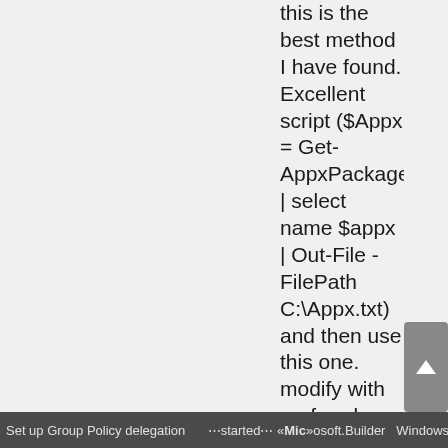this is the best method I have found. Excellent script ($Appx = Get-AppxPackage | select name $appx | Out-File -FilePath C:\Appx.txt) and then use this one. modify with prefered package names from 1rst script ($AppsList = "Microsoft.Office.Onenote","Microsoft.BingFinance","Microsoft.BingNews","Microsoft.BingWeather","Microsoft.XboxApp","Microsoft.SkypeApp","Microsoft.MicrosoftSolitaireCollection","Microsoft.BingSports","Microsoft.ZuneMusic","Microsoft.ZuneVideo","Microsoft.Windows.Photos","Microsoft.People","Microsoft.MicrosoftOfficeHub","Microsoft.WindowsMaps","microsoft.windowscommunicationsapps","Microsoft.G...
Set up Group Policy delegation    started»  «Microsoft.Builder    Windows 10 ADK: New features an...